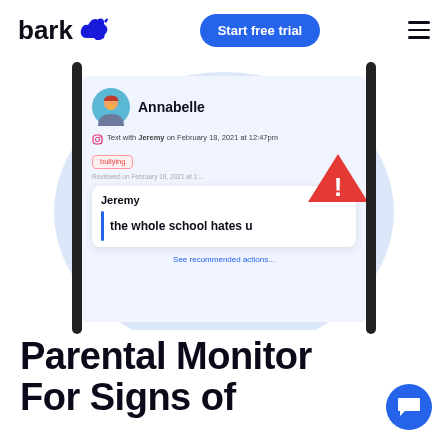bark — Start free trial
[Figure (screenshot): App screenshot showing a bullying alert for Annabelle with message from Jeremy: 'the whole school hates u', tagged as bullying, with a red warning triangle overlay]
Parental Monitor For Signs of